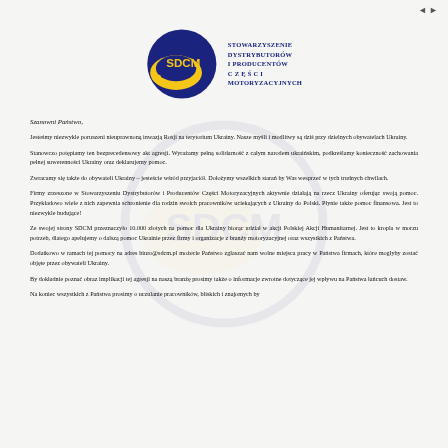[Figure (logo): SDCM logo: circular blue and yellow design with SDCM text, accompanied by organization name 'Stowarzyszenie Dystrybutorów i Producentów Części Motoryzacyjnych']
Szanowni Państwo,
Jesteśmy niezwykle poruszeni nieuprawnoną inwazją Rosji na terytorium Ukrainy. Nasze myśli i modlitwy są dziś przy dzielnych obywatelach Ukrainy.
Stanowczo potępiamy ten bezprecedensowy akt agresji. Wyrażamy pełną solidarność z całym narodem ukraińskim, podkreślamy konieczność zachowania pełnej suwerenności Ukrainy oraz deklarujemy pomoc.
Zwracamy się także do obywateli Ukrainy – jesteście wśród przyjaciół. Dołożymy wszelkich starań by Was wesprzeć w tych trudnych chwilach.
Firmy zrzeszone w Stowarzyszeniu Dystrybutorów i Producentów Części Motoryzacyjnych aktywnie działają na rzecz Ukrainy oferując swoją pomoc. Przykładowo wiele z nich zapewnia schronienie dla rodzin swoich pracowników uciekających z Ukrainy do Polski. Płynie także pomoc finansowa. Jest to niezwykle budujące!
Ze swojej strony SDCM przeznaczyło 10.000 złotych na pomoc dla Ukrainy biorąc udział w akcji Polskiej Akcji Humanitarnej. Jest to kropla w morzu potrzeb, dlatego apelujemy o dalszą pomoc Ukrainie przez firmy i organizacje z branży motoryzacyjnej oraz wszystkich z Państwa.
Dodatkowo w ramach tej pomocy na adres biuro@sdcm.pl możecie Państwo zgłaszać nam wolne miejsca pracy w Państwa firmach, które mogłyby zostać objęte przez obywateli Ukrainy.
By dokładnie poznać obraz implikacji tej agresji na naszą branżę prosimy także o informacje zwrotne dotyczące jej wpływu na Państwa łańcuch dostaw.
Na koniec wszystkich z Państwa prosimy o uczulanie pracowników, bliskich i znajomych by